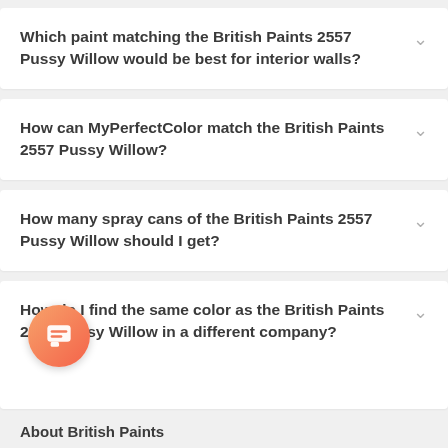Which paint matching the British Paints 2557 Pussy Willow would be best for interior walls?
How can MyPerfectColor match the British Paints 2557 Pussy Willow?
How many spray cans of the British Paints 2557 Pussy Willow should I get?
How do I find the same color as the British Paints 2557 Pussy Willow in a different company?
About British Paints